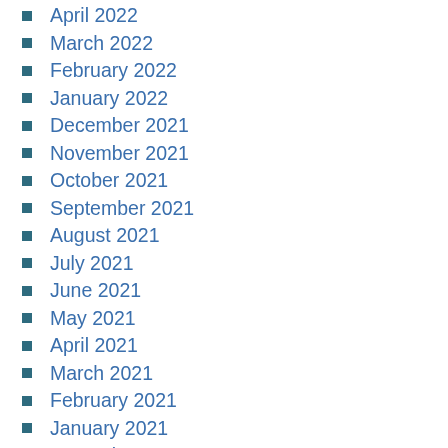April 2022
March 2022
February 2022
January 2022
December 2021
November 2021
October 2021
September 2021
August 2021
July 2021
June 2021
May 2021
April 2021
March 2021
February 2021
January 2021
December 2020
November 2020
October 2020
September 2020
August 2020
July 2020